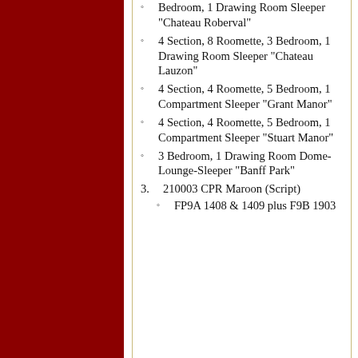4 Section, 8 Roomette, 3 Bedroom, 1 Drawing Room Sleeper "Chateau Roberval"
4 Section, 8 Roomette, 3 Bedroom, 1 Drawing Room Sleeper "Chateau Lauzon"
4 Section, 4 Roomette, 5 Bedroom, 1 Compartment Sleeper "Grant Manor"
4 Section, 4 Roomette, 5 Bedroom, 1 Compartment Sleeper "Stuart Manor"
3 Bedroom, 1 Drawing Room Dome-Lounge-Sleeper "Banff Park"
3. 210003 CPR Maroon (Script)
FP9A 1408 & 1409 plus F9B 1903